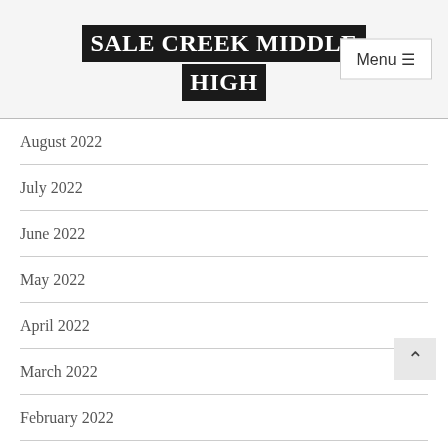SALE CREEK MIDDLE HIGH
August 2022
July 2022
June 2022
May 2022
April 2022
March 2022
February 2022
January 2022